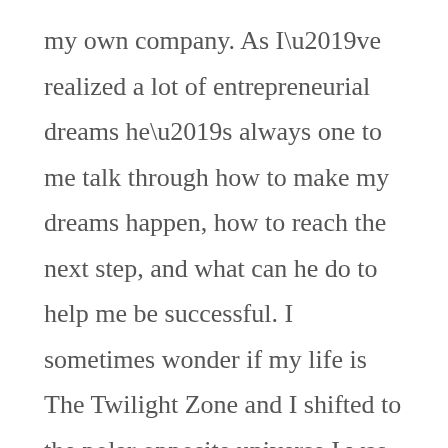my own company. As I’ve realized a lot of entrepreneurial dreams he’s always one to me talk through how to make my dreams happen, how to reach the next step, and what can he do to help me be successful. I sometimes wonder if my life is The Twilight Zone and I shifted to the polar opposite universe I was previously in, and it’s this reason
most of all that I feel so lucky to have him! He believes in me and